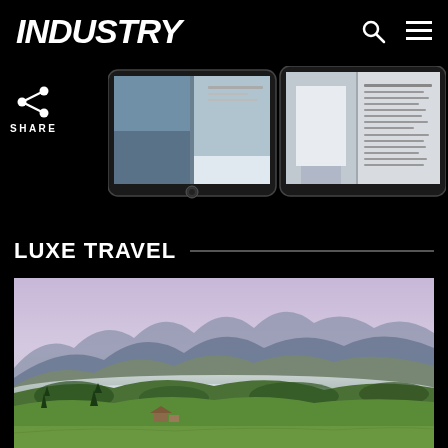INDUSTRY
[Figure (screenshot): Two tablet devices showing magazine pages, partially cropped, on black background]
SHARE
LUXE TRAVEL
[Figure (photo): Aerial panoramic photo of Alpine valley with green meadows, forested hills, mist in the valley, and mountain peaks in the background at dusk]